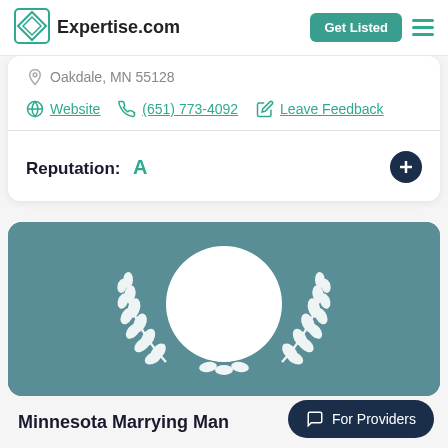Expertise.com  Get Listed
Oakdale, MN 55128
Website  (651) 773-4092  Leave Feedback
Reputation: A
[Figure (illustration): Teal badge card with white laurel wreath and circle placeholder icon]
Minnesota Marrying Man